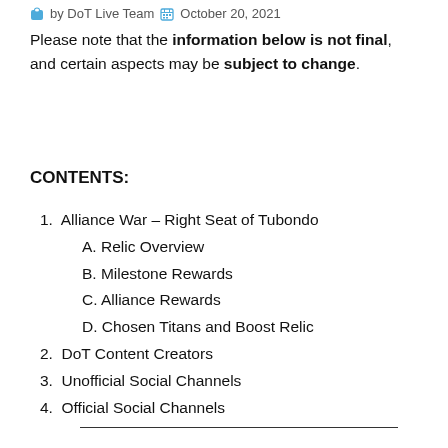by DoT Live Team  October 20, 2021
Please note that the information below is not final, and certain aspects may be subject to change.
CONTENTS:
1. Alliance War – Right Seat of Tubondo
A. Relic Overview
B. Milestone Rewards
C. Alliance Rewards
D. Chosen Titans and Boost Relic
2. DoT Content Creators
3. Unofficial Social Channels
4. Official Social Channels